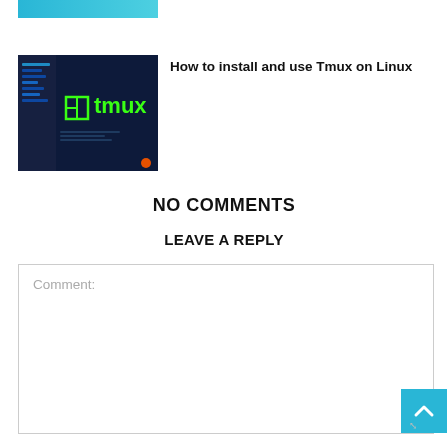[Figure (screenshot): Partial top strip showing a blue/teal thumbnail image (cropped)]
[Figure (screenshot): Thumbnail image of a terminal/code editor with green 'tmux' text and a tmux logo on a dark blue background]
How to install and use Tmux on Linux
NO COMMENTS
LEAVE A REPLY
Comment: